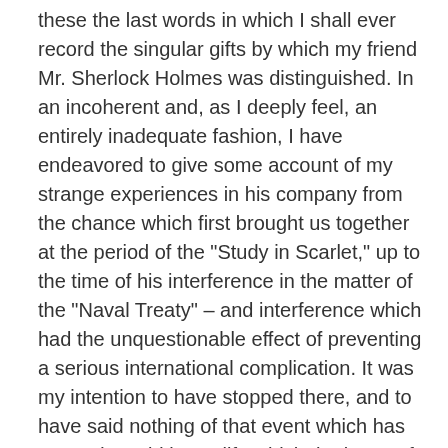these the last words in which I shall ever record the singular gifts by which my friend Mr. Sherlock Holmes was distinguished. In an incoherent and, as I deeply feel, an entirely inadequate fashion, I have endeavored to give some account of my strange experiences in his company from the chance which first brought us together at the period of the "Study in Scarlet," up to the time of his interference in the matter of the "Naval Treaty" – and interference which had the unquestionable effect of preventing a serious international complication. It was my intention to have stopped there, and to have said nothing of that event which has created a void in my life which the lapse of two years has done little to fill. My hand has been forced, however, by the recent letters in which Colonel James Moriarty defends the memory of his brother, and I have no choice but to lay the facts before the public exactly as they occurred. I alone know the absolute truth of the matter, and I am satisfied that the time has come when on good